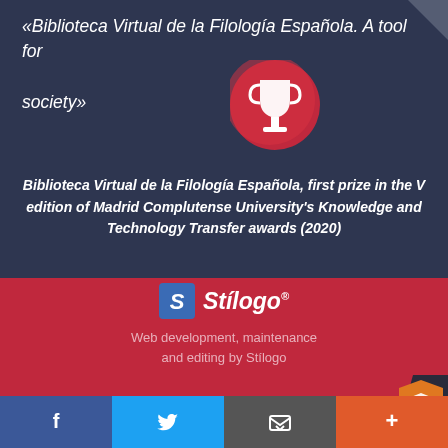«Biblioteca Virtual de la Filología Española. A tool for society»
[Figure (illustration): Red circle with white trophy icon]
Biblioteca Virtual de la Filología Española, first prize in the V edition of Madrid Complutense University's Knowledge and Technology Transfer awards (2020)
[Figure (logo): Stilogo logo with stylized S icon and italic Stilogo® wordmark]
Web development, maintenance and editing by Stílogo
BVFE | Biblioteca Virtual de la Filología Española, Madrid © 2011–2022 · All rights reserved
Facebook | Twitter | Email | +